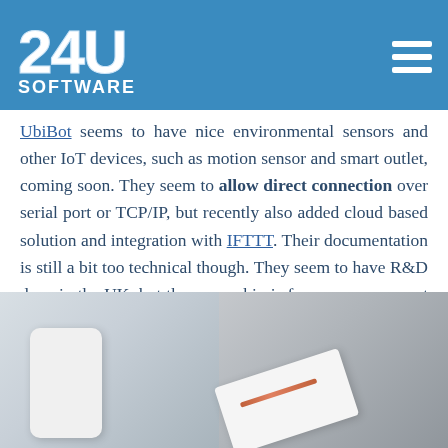[Figure (logo): 24U Software logo on blue header background with hamburger menu icon on the right]
UbiBot seems to have nice environmental sensors and other IoT devices, such as motion sensor and smart outlet, coming soon. They seem to allow direct connection over serial port or TCP/IP, but recently also added cloud based solution and integration with IFTTT. Their documentation is still a bit too technical though. They seem to have R&D done in the UK, but the ownership is for some reason not clear on the website. Crunchbase reveals it's actually a Chinese company.
[Figure (photo): Photo of two white IoT device/box products from UbiBot on a grey background]